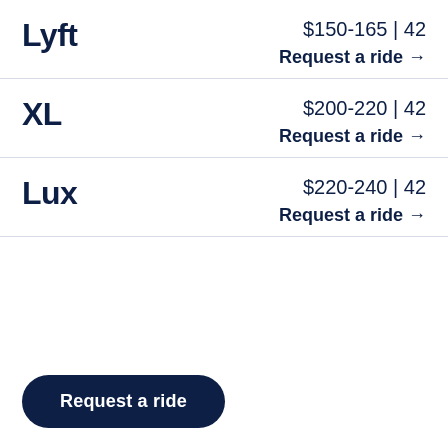Lyft | $150-165 | 42 | Request a ride →
XL | $200-220 | 42 | Request a ride →
Lux | $220-240 | 42 | Request a ride →
Request a ride